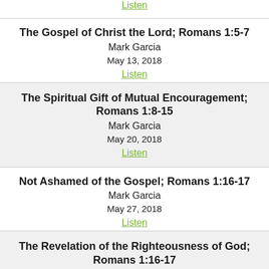Listen
The Gospel of Christ the Lord; Romans 1:5-7
Mark Garcia
May 13, 2018
Listen
The Spiritual Gift of Mutual Encouragement; Romans 1:8-15
Mark Garcia
May 20, 2018
Listen
Not Ashamed of the Gospel; Romans 1:16-17
Mark Garcia
May 27, 2018
Listen
The Revelation of the Righteousness of God; Romans 1:16-17
Mark Garcia
June 3, 2018
Listen